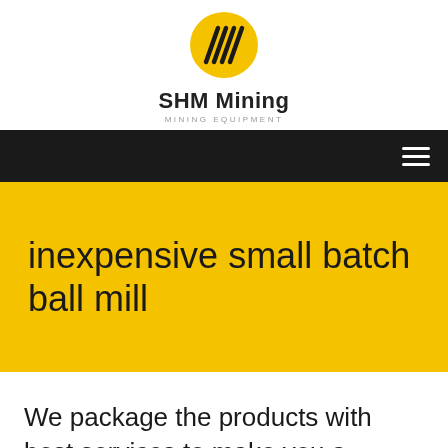[Figure (logo): SHM Mining logo: yellow circle with black diagonal lines forming a stylized 'M' or wave pattern]
SHM Mining
MINING EQUIPMENT
[Figure (other): Black navigation bar with hamburger menu icon on the right]
inexpensive small batch ball mill
We package the products with best services to make you a happy